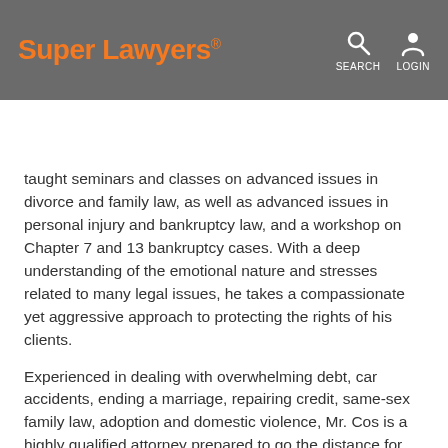Super Lawyers® | HOME | FIND A LAWYER | ASK SUPER L...
taught seminars and classes on advanced issues in divorce and family law, as well as advanced issues in personal injury and bankruptcy law, and a workshop on Chapter 7 and 13 bankruptcy cases. With a deep understanding of the emotional nature and stresses related to many legal issues, he takes a compassionate yet aggressive approach to protecting the rights of his clients.
Experienced in dealing with overwhelming debt, car accidents, ending a marriage, repairing credit, same-sex family law, adoption and domestic violence, Mr. Cos is a highly qualified attorney prepared to go the distance for his clients. To help clients gain a fresh start,